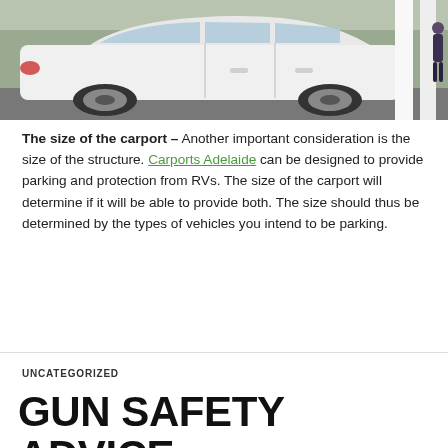[Figure (photo): A white PT Cruiser automobile parked, viewed from the side, with white vertical structural posts/carport columns visible on the right side of the image. Green trees visible in background.]
The size of the carport – Another important consideration is the size of the structure. Carports Adelaide can be designed to provide parking and protection from RVs. The size of the carport will determine if it will be able to provide both. The size should thus be determined by the types of vehicles you intend to be parking.
UNCATEGORIZED
GUN SAFETY ADVICE: